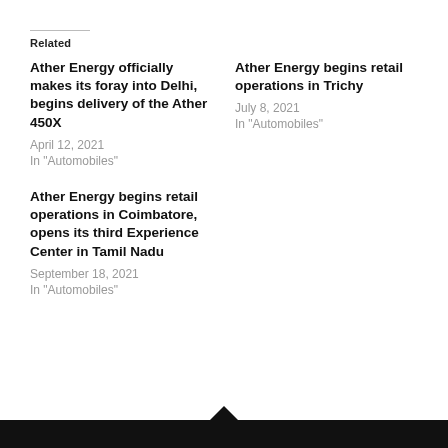Related
Ather Energy officially makes its foray into Delhi, begins delivery of the Ather 450X
April 12, 2021
In "Automobiles"
Ather Energy begins retail operations in Trichy
July 8, 2021
In "Automobiles"
Ather Energy begins retail operations in Coimbatore, opens its third Experience Center in Tamil Nadu
September 18, 2021
In "Automobiles"